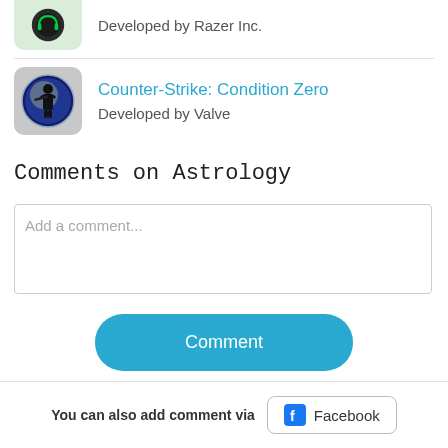[Figure (logo): Razer headset app icon, partially cropped at top]
Developed by Razer Inc.
[Figure (logo): Counter-Strike: Condition Zero app icon showing soldier silhouette in circular badge]
Counter-Strike: Condition Zero
Developed by Valve
Comments on Astrology
Add a comment...
Comment
You can also add comment via
[Figure (logo): Facebook logo button]